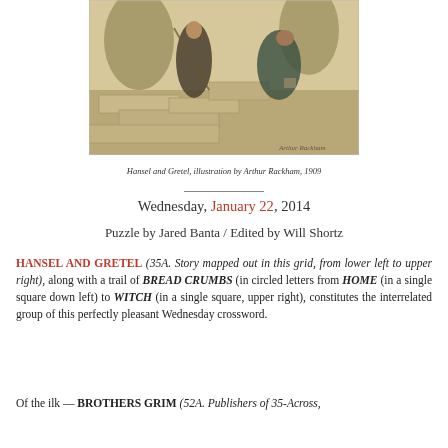[Figure (illustration): Hansel and Gretel illustration by Arthur Rackham, 1909. Shows figures on stone steps in a dark, etched style.]
Hansel and Gretel, illustration by Arthur Rackham, 1909
Wednesday, January 22, 2014
Puzzle by Jared Banta / Edited by Will Shortz
HANSEL AND GRETEL (35A. Story mapped out in this grid, from lower left to upper right), along with a trail of BREAD CRUMBS (in circled letters from HOME (in a single square down left) to WITCH (in a single square, upper right), constitutes the interrelated group of this perfectly pleasant Wednesday crossword.
Of the ilk — BROTHERS GRIM (52A. Publishers of 35-Across,